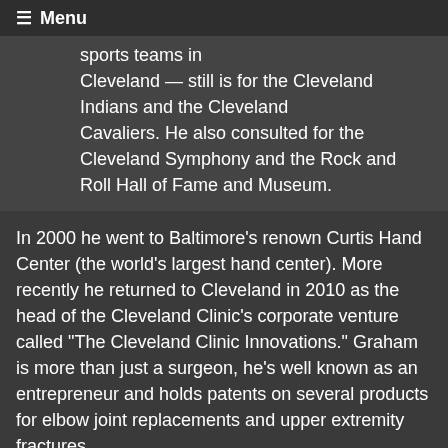☰ Menu
sports teams in Cleveland — still is for the Cleveland Indians and the Cleveland Cavaliers. He also consulted for the Cleveland Symphony and the Rock and Roll Hall of Fame and Museum.
In 2000 he went to Baltimore's renown Curtis Hand Center (the world's largest hand center). More recently he returned to Cleveland in 2010 as the head of the Cleveland Clinic's corporate venture called "The Cleveland Clinic Innovations." Graham is more than just a surgeon, he's well known as an entrepreneur and holds patents on several products for elbow joint replacements and upper extremity fractures.
Rock & Roll Hall of fame credits include David Crosby's hand. Make's one wonder if CSN&Y reference is to both Dr. Graham and Graham Nash.